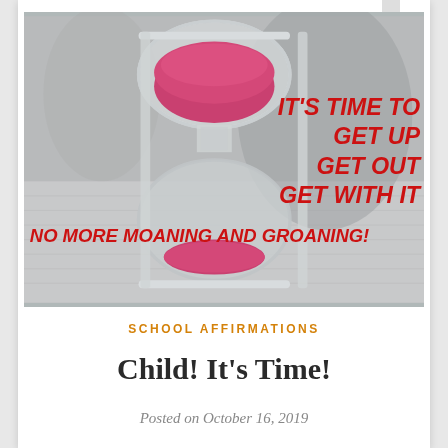[Figure (photo): Photograph of an hourglass with red/pink sand on a newspaper background. Text overlaid in red italic caps reads: 'IT'S TIME TO GET UP GET OUT GET WITH IT' on the right side, and 'NO MORE MOANING AND GROANING!' across the bottom.]
SCHOOL AFFIRMATIONS
Child! It's Time!
Posted on October 16, 2019